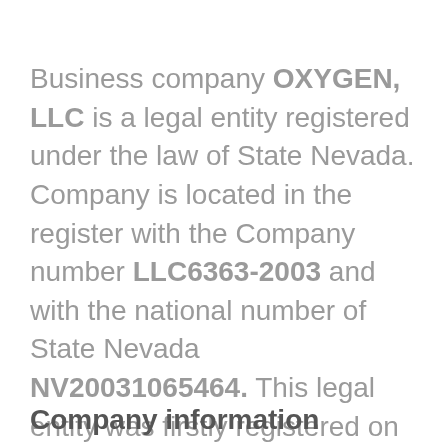Business company OXYGEN, LLC is a legal entity registered under the law of State Nevada. Company is located in the register with the Company number LLC6363-2003 and with the national number of State Nevada NV20031065464. This legal entity was firstly registered on 30th April 2003 under the legal form of Domestic Limited-Liability Company. Business activities of this company are managed by Managers. Current company's status is Dissolved. Company has expired at 30th April 2503.
Company information